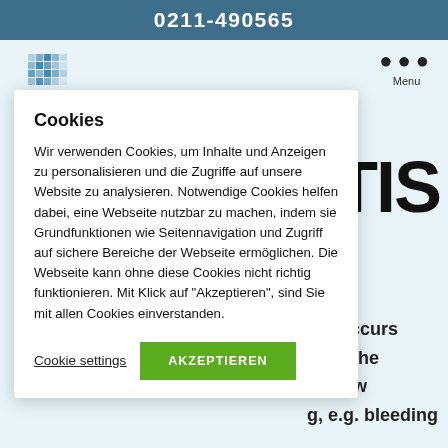0211-490565
[Figure (logo): Blue pixelated grid logo icon in top-left of webpage]
Menu
Cookies
Wir verwenden Cookies, um Inhalte und Anzeigen zu personalisieren und die Zugriffe auf unsere Website zu analysieren. Notwendige Cookies helfen dabei, eine Webseite nutzbar zu machen, indem sie Grundfunktionen wie Seitennavigation und Zugriff auf sichere Bereiche der Webseite ermöglichen. Die Webseite kann ohne diese Cookies nicht richtig funktionieren. Mit Klick auf "Akzeptieren", sind Sie mit allen Cookies einverstanden.
Cookie settings
AKZEPTIEREN
TIS
hat occurs
Until the
y a few
g, e.g. bleeding